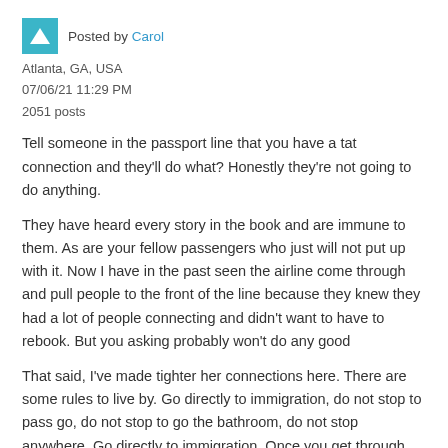Posted by Carol
Atlanta, GA, USA
07/06/21 11:29 PM
2051 posts
Tell someone in the passport line that you have a tat connection and they'll do what? Honestly they're not going to do anything.
They have heard every story in the book and are immune to them. As are your fellow passengers who just will not put up with it. Now I have in the past seen the airline come through and pull people to the front of the line because they knew they had a lot of people connecting and didn't want to have to rebook. But you asking probably won't do any good
That said, I've made tighter her connections here. There are some rules to live by. Go directly to immigration, do not stop to pass go, do not stop to go the bathroom, do not stop anywhere. Go directly to immigration. Once you get through immigration go directly to your new gate once again do not stop to shop, no